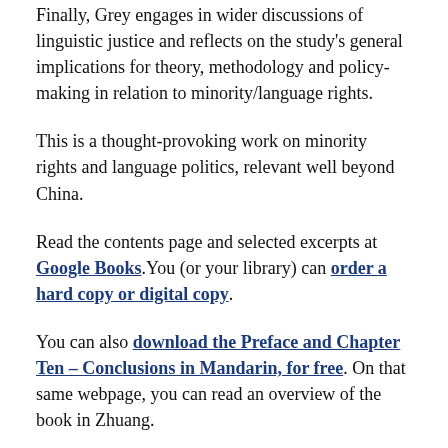Finally, Grey engages in wider discussions of linguistic justice and reflects on the study's general implications for theory, methodology and policy-making in relation to minority/language rights.
This is a thought-provoking work on minority rights and language politics, relevant well beyond China.
Read the contents page and selected excerpts at Google Books. You (or your library) can order a hard copy or digital copy.
You can also download the Preface and Chapter Ten – Conclusions in Mandarin, for free. On that same webpage, you can read an overview of the book in Zhuang.